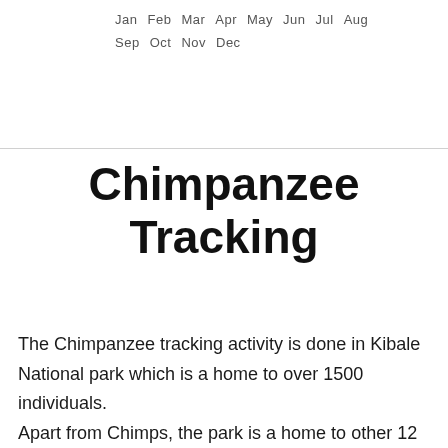[Figure (other): Partial view of a calendar or month legend showing month abbreviations: Jan Feb Mar Apr May Jun Jul Aug / Sep Oct Nov Dec]
Chimpanzee Tracking
The Chimpanzee tracking activity is done in Kibale National park which is a home to over 1500 individuals.
Apart from Chimps, the park is a home to other 12